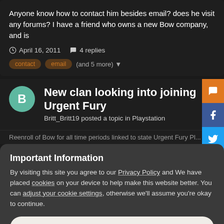Anyone know how to contact him besides email? does he visit any forums? I have a friend who owns a new Bow company, and is
April 16, 2011   4 replies
contact   email   (and 5 more)
New clan looking into joining Urgent Fury
Britt_Britt19 posted a topic in Playstation
Important Information
By visiting this site you agree to our Privacy Policy and We have placed cookies on your device to help make this website better. You can adjust your cookie settings, otherwise we'll assume you're okay to continue.
✓ I accept